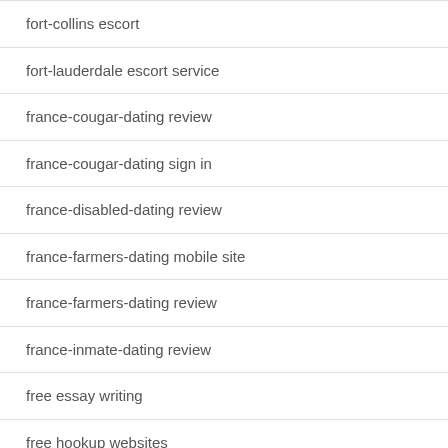fort-collins escort
fort-lauderdale escort service
france-cougar-dating review
france-cougar-dating sign in
france-disabled-dating review
france-farmers-dating mobile site
france-farmers-dating review
france-inmate-dating review
free essay writing
free hookup websites
free…